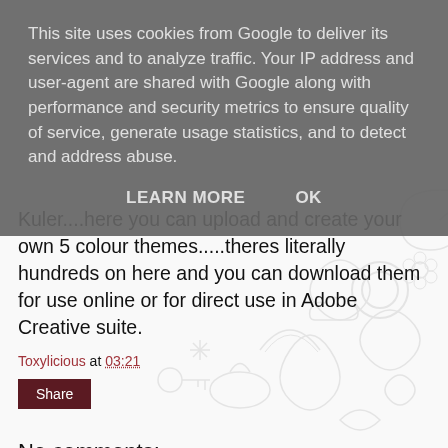This site uses cookies from Google to deliver its services and to analyze traffic. Your IP address and user-agent are shared with Google along with performance and security metrics to ensure quality of service, generate usage statistics, and to detect and address abuse.
LEARN MORE   OK
Kuler....here you can upload and create your own 5 colour themes.....theres literally hundreds on here and you can download them for use online or for direct use in Adobe Creative suite.
Toxylicious at 03:21
Share
No comments:
Post a Comment
Like the post? Would love your feedback...leave me your comments and links as ill always check